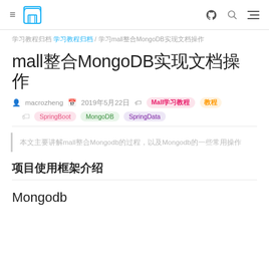≡ [store icon] [github icon] [search icon] [menu icon]
学习教程归档 / mall整合MongoDB实现文档操作
mall整合MongoDB实现文档操作
macrozheng  2019年5月22日  Mall学习教程  教程
SpringBoot  MongoDB  SpringData
本文主要讲解mall整合Mongodb的过程，以及Mongodb的一些常用操作
项目使用框架介绍
Mongodb